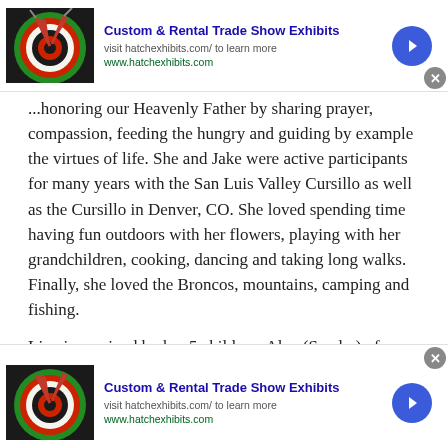[Figure (screenshot): Ad banner: Custom & Rental Trade Show Exhibits, with dartboard image, blue arrow button, and close button]
...honoring our Heavenly Father by sharing prayer, compassion, feeding the hungry and guiding by example the virtues of life.  She and Jake were active participants for many years with the San Luis Valley Cursillo as well as the Cursillo in Denver, CO. She loved spending time having fun outdoors with her flowers, playing with her grandchildren, cooking, dancing and taking long walks.  Finally, she loved the Broncos, mountains, camping and fishing.
Liva is survived by her 5 children; Alan (Sandra) of
[Figure (screenshot): Ad banner (bottom): Custom & Rental Trade Show Exhibits, with dartboard image, blue arrow button, and close button]